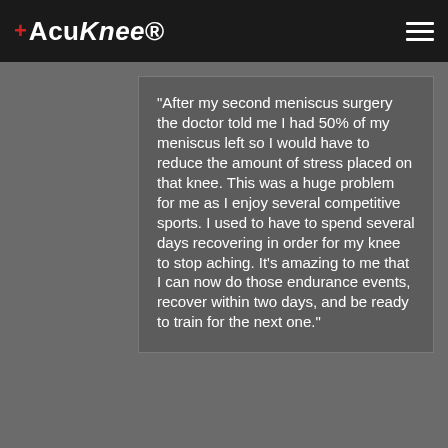+AcuKnee
"After my second meniscus surgery the doctor told me I had 50% of my meniscus left so I would have to reduce the amount of stress placed on that knee. This was a huge problem for me as I enjoy several competitive sports. I used to have to spend several days recovering in order for my knee to stop aching. It's amazing to me that I can now do those endurance events, recover within two days, and be ready to train for the next one."